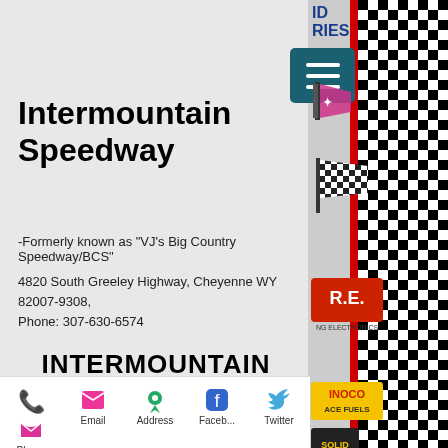Intermountain Speedway
-Formerly known as "VJ's Big Country Speedway/BCS"
4820 South Greeley Highway, Cheyenne WY 82007-9308, Phone: 307-630-6574
[Figure (logo): Intermountain Speedway logo with race car #85 and mountain background]
Pits open at 12:00 Noon
Gates o...
Races S...
Phone  Email  Address  Faceb...  Twitter